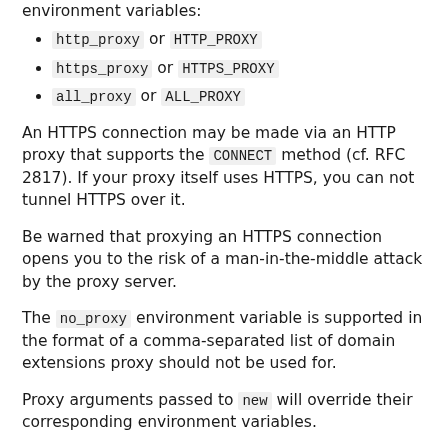environment variables:
http_proxy or HTTP_PROXY
https_proxy or HTTPS_PROXY
all_proxy or ALL_PROXY
An HTTPS connection may be made via an HTTP proxy that supports the CONNECT method (cf. RFC 2817). If your proxy itself uses HTTPS, you can not tunnel HTTPS over it.
Be warned that proxying an HTTPS connection opens you to the risk of a man-in-the-middle attack by the proxy server.
The no_proxy environment variable is supported in the format of a comma-separated list of domain extensions proxy should not be used for.
Proxy arguments passed to new will override their corresponding environment variables.
LIMITATIONS
HTTP: The proxy does not conditionally allow access to HTTP...